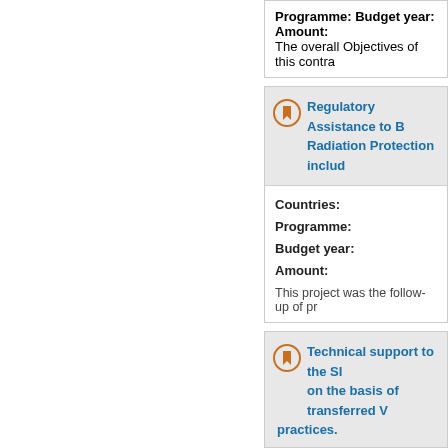Programme:
Budget year:
Amount:
The overall Objectives of this contra
Regulatory Assistance to B Radiation Protection includ
Countries:
Programme:
Budget year:
Amount:
This project was the follow-up of pr
Technical support to the SI on the basis of transferred V practices.